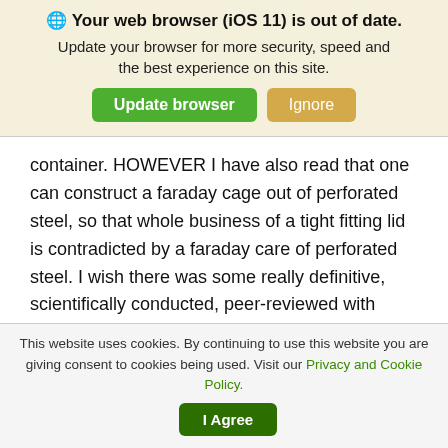[Figure (screenshot): Browser update notification banner with globe icon, bold title 'Your web browser (iOS 11) is out of date.', subtitle, and two buttons: 'Update browser' (green) and 'Ignore' (tan/gold)]
container. HOWEVER I have also read that one can construct a faraday cage out of perforated steel, so that whole business of a tight fitting lid is contradicted by a faraday care of perforated steel. I wish there was some really definitive, scientifically conducted, peer-reviewed with approval, testing done by some organization that didn't have an axe to grind that was reported in plain old every day English that we could all understand that would shed
This website uses cookies. By continuing to use this website you are giving consent to cookies being used. Visit our Privacy and Cookie Policy.
[Figure (screenshot): Green 'I Agree' button for cookie consent]